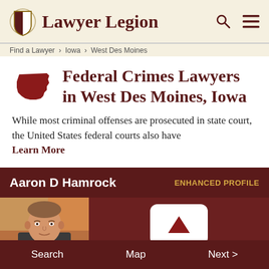Lawyer Legion
Find a Lawyer > Iowa > West Des Moines
Federal Crimes Lawyers in West Des Moines, Iowa
While most criminal offenses are prosecuted in state court, the United States federal courts also have Learn More
Aaron D Hamrock
ENHANCED PROFILE
[Figure (photo): Photo of Aaron D Hamrock, a lawyer]
Search   Map   Next >